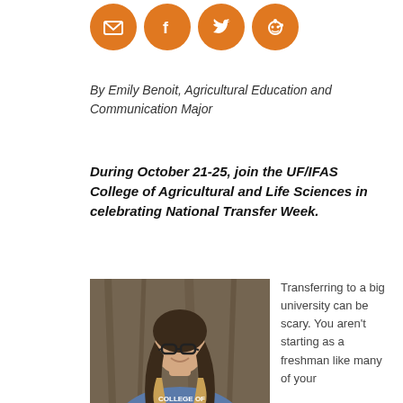[Figure (other): Row of four orange circular social media share icons: email/envelope, Facebook, Twitter, Reddit]
By Emily Benoit, Agricultural Education and Communication Major
During October 21-25, join the UF/IFAS College of Agricultural and Life Sciences in celebrating National Transfer Week.
[Figure (photo): Young woman with long wavy brown-to-blonde ombre hair, wearing black glasses and a blue College Of shirt, smiling in front of a tree]
Transferring to a big university can be scary. You aren’t starting as a freshman like many of your